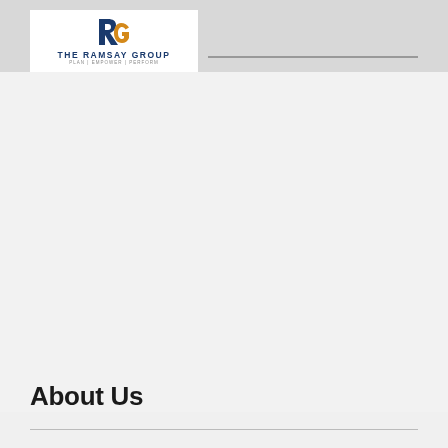The Ramsay Group — Plan | Empower | Perform
About Us